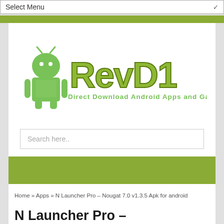Select Menu
[Figure (logo): RevDl logo - Android robot with green 'RevDl' text and subtitle 'Direct Download Android Apps and Games']
Search here..
Home » Apps » N Launcher Pro – Nougat 7.0 v1.3.5 Apk for android
N Launcher Pro – Nougat 7.0 v1.3.5 Apk for android